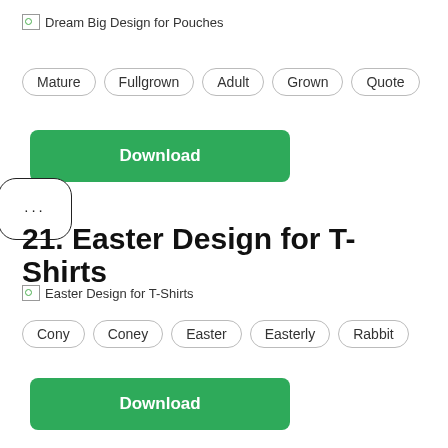[Figure (other): Broken image placeholder labeled 'Dream Big Design for Pouches']
Mature
Fullgrown
Adult
Grown
Quote
Download
21. Easter Design for T-Shirts
[Figure (other): Broken image placeholder labeled 'Easter Design for T-Shirts']
Cony
Coney
Easter
Easterly
Rabbit
Download